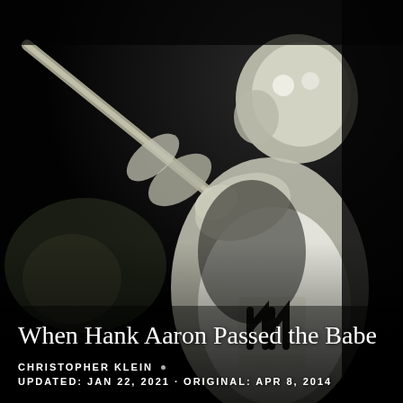[Figure (photo): Dark, high-contrast black and white photograph of Hank Aaron mid-swing with a baseball bat, wearing jersey number 44, shot from behind/side angle against a dark background]
When Hank Aaron Passed the Babe
CHRISTOPHER KLEIN •
UPDATED: JAN 22, 2021 · ORIGINAL: APR 8, 2014